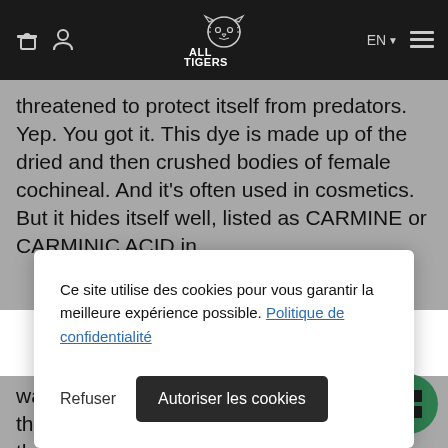ALL TIGERS
threatened to protect itself from predators. Yep. You got it. This dye is made up of the dried and then crushed bodies of female cochineal. And it's often used in cosmetics. But it hides itself well, listed as CARMINE or CARMINIC ACID in
Ce site utilise des cookies pour vous garantir la meilleure expérience possible. Politique de confidentialité
Refuser
Autoriser les cookies
wax, is a greasy substance obtained from the wool of sheep. This wax is secreted by the